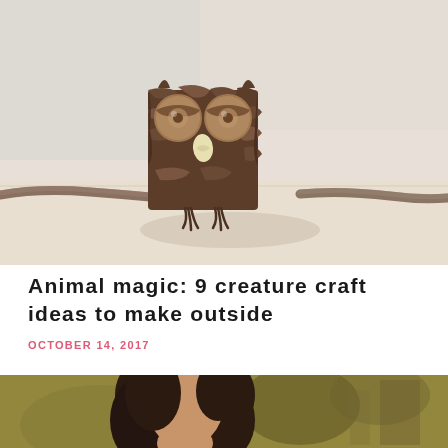[Figure (photo): A handmade owl craft made from natural materials including bark pieces, acorns as eyes, a seed as beak, and a twig across it as wings, set on a light wooden surface]
Animal magic: 9 creature craft ideas to make outside
OCTOBER 14, 2017
[Figure (photo): A woman with dark hair photographed outdoors in a natural setting with foliage in the background]